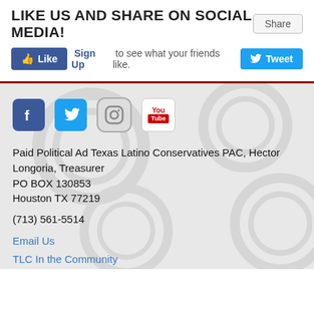LIKE US AND SHARE ON SOCIAL MEDIA!
[Figure (screenshot): Facebook Like button with Sign Up text and Tweet button on social bar]
[Figure (infographic): Social media icons: Facebook, Twitter, Instagram, YouTube]
Paid Political Ad Texas Latino Conservatives PAC, Hector Longoria, Treasurer
PO BOX 130853
Houston TX 77219
(713) 561-5514
Email Us
TLC In the Community
Endorsements
Events
News
Get Involved!